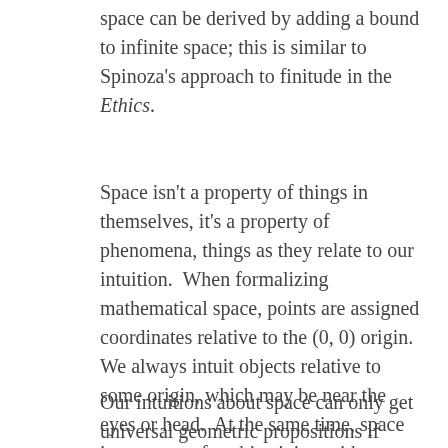space can be derived by adding a bound to infinite space; this is similar to Spinoza's approach to finitude in the Ethics.
Space isn't a property of things in themselves, it's a property of phenomena, things as they relate to our intuition.  When formalizing mathematical space, points are assigned coordinates relative to the (0, 0) origin.  We always intuit objects relative to some origin, which may be near the eyes or head.  At the same time, space is necessary for objectivity; without space, there is no idea of external objects.
Our intuitions about space can only get universal geometric propositions if these propositions describe objects as they must necessarily appear